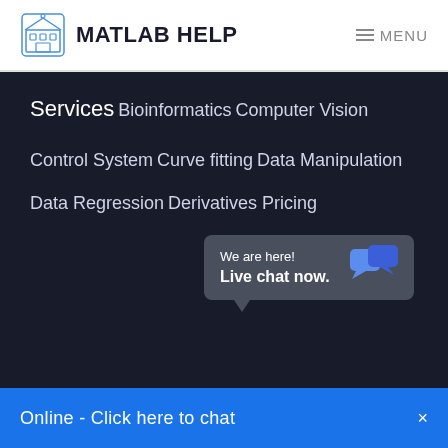MATLAB HELP  MENU
Services
Bioinformatics
Computer Vision
Control System
Curve fitting
Data Manipulation
Data Regression
Derivatives Pricing
[Figure (screenshot): Live chat popup widget showing 'We are here! Live chat now.' message with chat bubble icons, and a blue bar at bottom reading 'Online - Click here to chat ×']